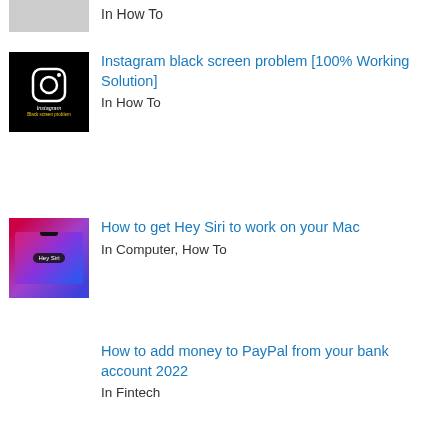[Figure (photo): Partial thumbnail image (grey/cropped) at top of page]
In How To
[Figure (photo): Black Instagram logo thumbnail with text 'Instagram Black screen problem']
Instagram black screen problem [100% Working Solution]
In How To
[Figure (photo): Mac laptop thumbnail with purple gradient background and Hey Siri badge]
How to get Hey Siri to work on your Mac
In Computer, How To
How to add money to PayPal from your bank account 2022
In Fintech